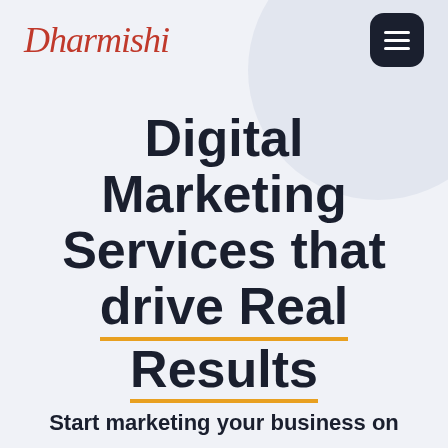[Figure (logo): Dharmishi brand logo in red cursive/script font]
Digital Marketing Services that drive Real Results
Start marketing your business on